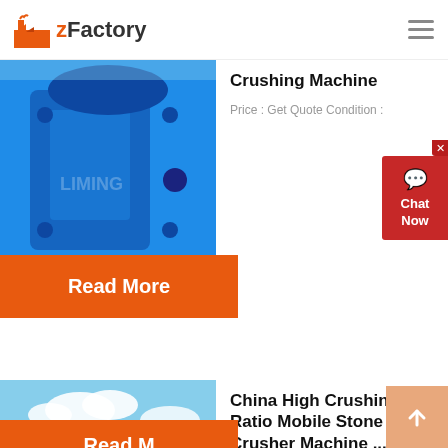zFactory
Crushing Machine
Price : Get Quote Condition :
[Figure (photo): Blue industrial jaw crusher machine with LIMING branding]
Read More
China High Crushing Ratio Mobile Stone Crusher Machine ...
High crushing ratio Mobile Stone...
[Figure (photo): Outdoor mobile stone crusher plant at construction site with conveyors and machinery]
Read More